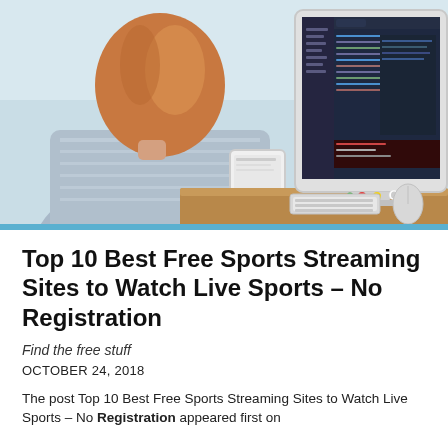[Figure (photo): Woman with red/blonde hair seen from behind, wearing a light blue/grey striped shirt, holding a white tablet/phone, sitting in front of an iMac desktop computer with stickers on it showing a code editor on the screen, light blue/grey background]
Top 10 Best Free Sports Streaming Sites to Watch Live Sports – No Registration
Find the free stuff
OCTOBER 24, 2018
The post Top 10 Best Free Sports Streaming Sites to Watch Live Sports – No Registration appeared first on